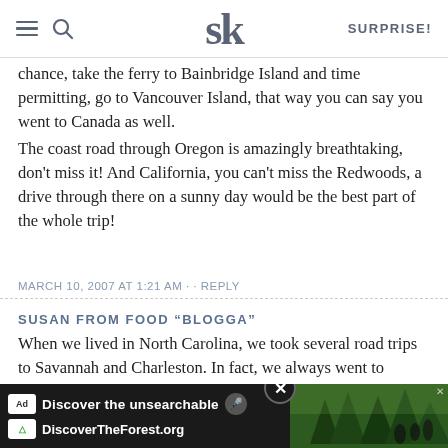SK SURPRISE!
chance, take the ferry to Bainbridge Island and time permitting, go to Vancouver Island, that way you can say you went to Canada as well.
The coast road through Oregon is amazingly breathtaking, don't miss it! And California, you can't miss the Redwoods, a drive through there on a sunny day would be the best part of the whole trip!
MARCH 10, 2007 AT 1:21 AM · · REPLY
SUSAN FROM FOOD "BLOGGA"
When we lived in North Carolina, we took several road trips to Savannah and Charleston. In fact, we always went to Charleston in April for the flowers. These cities will always be special to me. Thanks for reminding me of them with your beautiful photos.
MARCH
[Figure (screenshot): Advertisement banner: 'Discover the unsearchable' for DiscoverTheForest.org with forest image and close button]